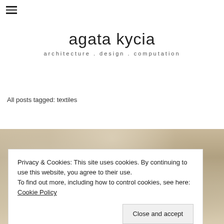[Figure (other): Hamburger/menu icon — three horizontal lines]
agata kycia
architecture . design . computation
All posts tagged: textiles
[Figure (photo): Close-up photo of a fuzzy/fluffy textile or fabric material in beige/tan tones]
Privacy & Cookies: This site uses cookies. By continuing to use this website, you agree to their use.
To find out more, including how to control cookies, see here: Cookie Policy
Close and accept